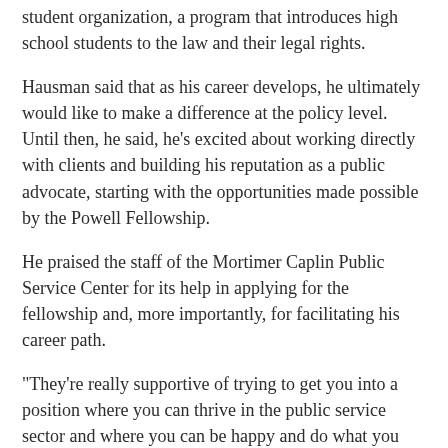student organization, a program that introduces high school students to the law and their legal rights.
Hausman said that as his career develops, he ultimately would like to make a difference at the policy level. Until then, he said, he's excited about working directly with clients and building his reputation as a public advocate, starting with the opportunities made possible by the Powell Fellowship.
He praised the staff of the Mortimer Caplin Public Service Center for its help in applying for the fellowship and, more importantly, for facilitating his career path.
"They're really supportive of trying to get you into a position where you can thrive in the public service sector and where you can be happy and do what you want to do," he said. "Not everyone comes to UVA to be in a big firm, and I think the school really recognizes that."
Annie Kim assistant dean for public service, said Hausman